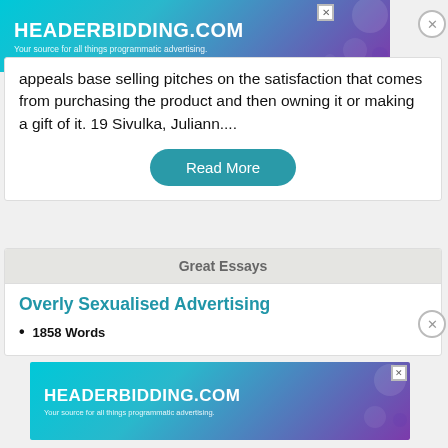[Figure (screenshot): HeaderBidding.com advertisement banner at top of page. Teal to purple gradient background with white text reading 'HEADERBIDDING.COM' and subtitle 'Your source for all things programmatic advertising.']
appeals base selling pitches on the satisfaction that comes from purchasing the product and then owning it or making a gift of it. 19 Sivulka, Juliann....
Read More
Great Essays
Overly Sexualised Advertising
1858 Words
[Figure (screenshot): HeaderBidding.com advertisement banner at bottom of page. Teal to purple gradient background with white text reading 'HEADERBIDDING.COM' and subtitle 'Your source for all things programmatic advertising.']